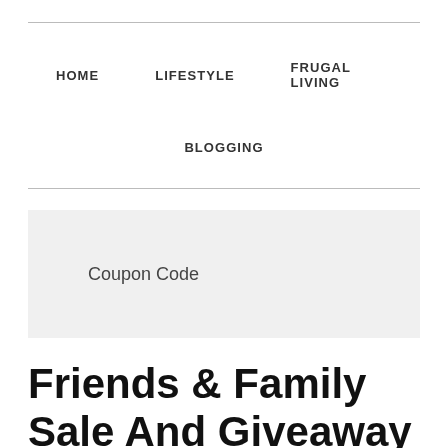HOME   LIFESTYLE   FRUGAL LIVING   BLOGGING
[Figure (other): Coupon Code placeholder box (gray background with text 'Coupon Code')]
Friends & Family Sale And Giveaway
December 7, 2016 by Rajan Malla — 1 Comment